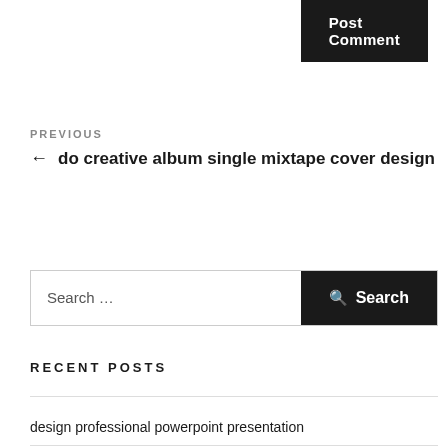Post Comment
PREVIOUS
← do creative album single mixtape cover design
Search …
Search
RECENT POSTS
design professional powerpoint presentation